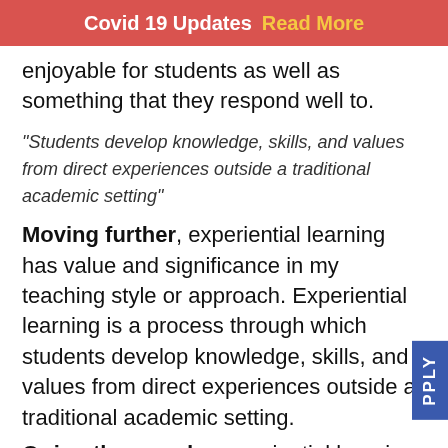Covid 19 Updates  Read More
enjoyable for students as well as something that they respond well to.
“Students develop knowledge, skills, and values from direct experiences outside a traditional academic setting”
Moving further, experiential learning has value and significance in my teaching style or approach. Experiential learning is a process through which students develop knowledge, skills, and values from direct experiences outside a traditional academic setting.
Or in other words, experiential learning is an engaged learning process where students “learn by doing” followed with reflection on the experience.
To further that, experiential learning is typica